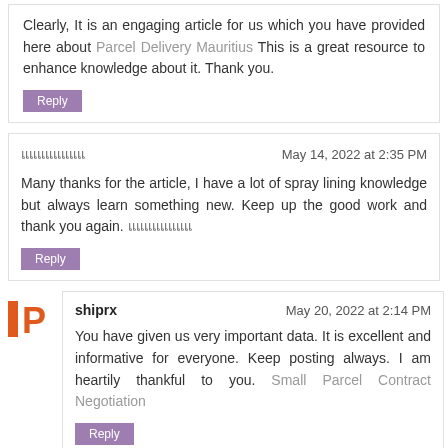Clearly, it is an engaging article for us which you have provided here about Parcel Delivery Mauritius This is a great resource to enhance knowledge about it. Thank you.
Reply
แแแแแแแแ — May 14, 2022 at 2:35 PM
Many thanks for the article, I have a lot of spray lining knowledge but always learn something new. Keep up the good work and thank you again. แแแแแแแแ
Reply
shiprx — May 20, 2022 at 2:14 PM
You have given us very important data. It is excellent and informative for everyone. Keep posting always. I am heartily thankful to you. Small Parcel Contract Negotiation
Reply
lorideliveries — June 29, 2022 at 2:27 PM